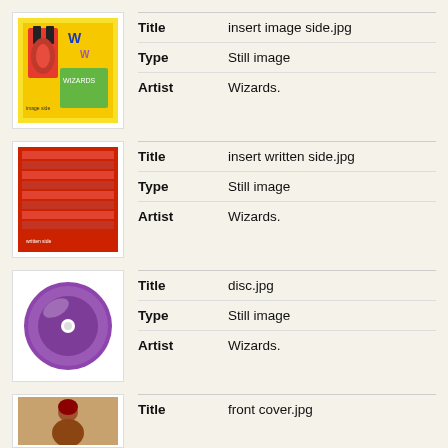[Figure (other): Thumbnail of insert image side - colorful book/CD cover with W letters]
| Field | Value |
| --- | --- |
| Title | insert image side.jpg |
| Type | Still image |
| Artist | Wizards. |
[Figure (other): Thumbnail of insert written side - red patterned cover with text]
| Field | Value |
| --- | --- |
| Title | insert written side.jpg |
| Type | Still image |
| Artist | Wizards. |
[Figure (other): Thumbnail of disc - purple/maroon CD]
| Field | Value |
| --- | --- |
| Title | disc.jpg |
| Type | Still image |
| Artist | Wizards. |
[Figure (other): Thumbnail of front cover - person photo]
| Field | Value |
| --- | --- |
| Title | front cover.jpg |